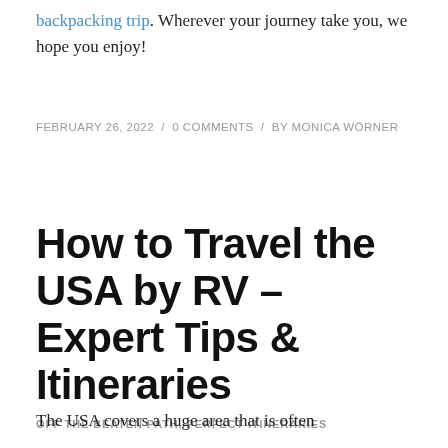backpacking trip. Wherever your journey take you, we hope you enjoy!
FEBRUARY 26, 2022 / 0 COMMENTS / BY MONICA WÖRNER
How to Travel the USA by RV – Expert Tips & Itineraries
OFF THE BEATEN PATH, PERFECT ITINERARIES
The USA covers a huge area that is often